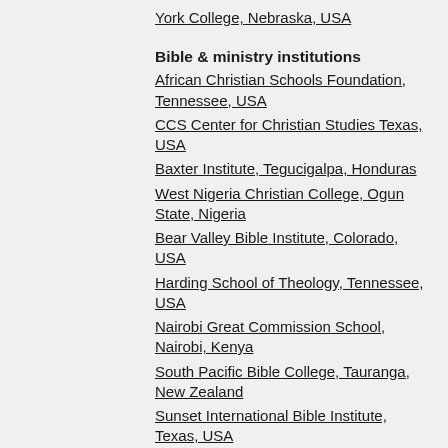York College, Nebraska, USA
Bible & ministry institutions
African Christian Schools Foundation, Tennessee, USA
CCS Center for Christian Studies Texas, USA
Baxter Institute, Tegucigalpa, Honduras
West Nigeria Christian College, Ogun State, Nigeria
Bear Valley Bible Institute, Colorado, USA
Harding School of Theology, Tennessee, USA
Nairobi Great Commission School, Nairobi, Kenya
South Pacific Bible College, Tauranga, New Zealand
Sunset International Bible Institute, Texas, USA
West Nigeria Christian College, Ogun, Nigeria
Humanitarian
Bread for a Hungry World, Texas, USA